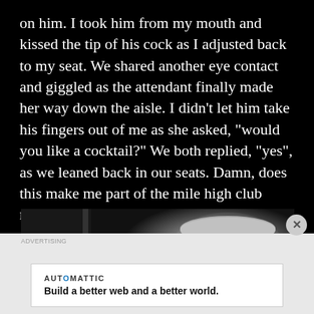on him. I took him from my mouth and kissed the tip of his cock as I adjusted back to my seat. We shared another eye contact and giggled as the attendant finally made her way down the aisle. I didn't let him take his fingers out of me as she asked, “would you like a cocktail?” We both replied, “yes”, as we leaned back in our seats. Damn, does this make me part of the mile high club now?
[Figure (photo): Black and white photograph showing an interior scene, dimly lit, with a lamp and dark objects visible in the background.]
AUTOMATTIC
Build a better web and a better world.